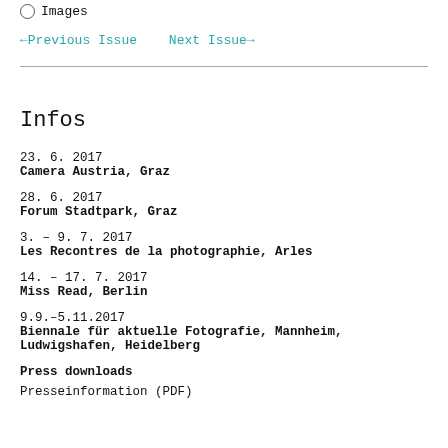Images
←Previous Issue    Next Issue→
Infos
23. 6. 2017
Camera Austria, Graz
28. 6. 2017
Forum Stadtpark, Graz
3. – 9. 7. 2017
Les Recontres de la photographie, Arles
14. – 17. 7. 2017
Miss Read, Berlin
9.9.–5.11.2017
Biennale für aktuelle Fotografie, Mannheim, Ludwigshafen, Heidelberg
Press downloads
Presseinformation (PDF)